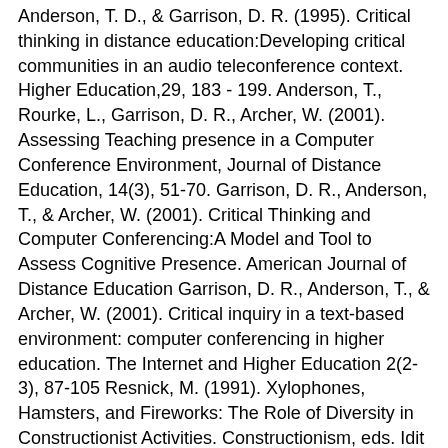Anderson, T. D., & Garrison, D. R. (1995). Critical thinking in distance education:Developing critical communities in an audio teleconference context. Higher Education,29, 183 - 199. Anderson, T., Rourke, L., Garrison, D. R., Archer, W. (2001). Assessing Teaching presence in a Computer Conference Environment, Journal of Distance Education, 14(3), 51-70. Garrison, D. R., Anderson, T., & Archer, W. (2001). Critical Thinking and Computer Conferencing:A Model and Tool to Assess Cognitive Presence. American Journal of Distance Education Garrison, D. R., Anderson, T., & Archer, W. (2001). Critical inquiry in a text-based environment: computer conferencing in higher education. The Internet and Higher Education 2(2-3), 87-105 Resnick, M. (1991). Xylophones, Hamsters, and Fireworks: The Role of Diversity in Constructionist Activities. Constructionism, eds. Idit Harel and Seymour Papert. Rourke, L., Anderson, T. Garrison, D. R., & Archer, W. (2001). Assessing social presence in asynchronous, text-based computer conferencing. Journal of Distance Education, 14(3),50-70. Lippman, M. (1991). Thinking in Education. Chapter 1. Cambridge University Press. Vygotsky,